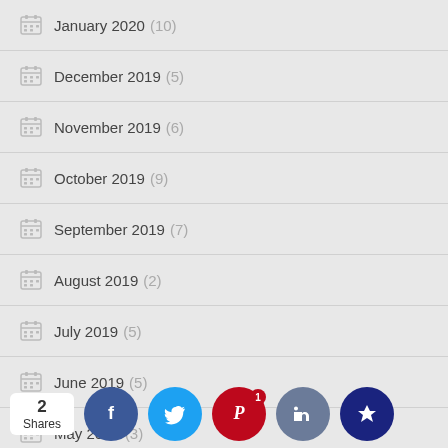January 2020 (10)
December 2019 (5)
November 2019 (6)
October 2019 (9)
September 2019 (7)
August 2019 (2)
July 2019 (5)
June 2019 (5)
May 2019 (3)
April 2019
[Figure (infographic): Social share bar with 2 Shares, Facebook, Twitter, Pinterest (1 share), Like, and Crown buttons]